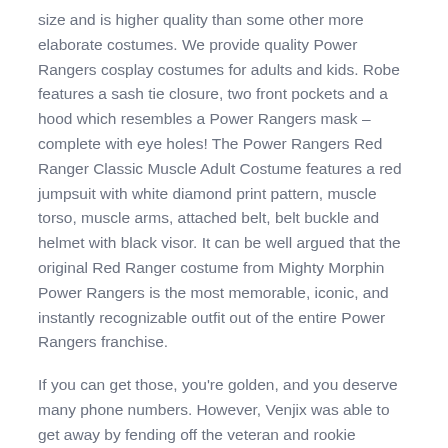size and is higher quality than some other more elaborate costumes. We provide quality Power Rangers cosplay costumes for adults and kids. Robe features a sash tie closure, two front pockets and a hood which resembles a Power Rangers mask – complete with eye holes! The Power Rangers Red Ranger Classic Muscle Adult Costume features a red jumpsuit with white diamond print pattern, muscle torso, muscle arms, attached belt, belt buckle and helmet with black visor. It can be well argued that the original Red Ranger costume from Mighty Morphin Power Rangers is the most memorable, iconic, and instantly recognizable outfit out of the entire Power Rangers franchise.
If you can get those, you're golden, and you deserve many phone numbers. However, Venjix was able to get away by fending off the veteran and rookie Rangers with a blast and boarding Serpentera. While there were plenty of other characters in the series, the most common